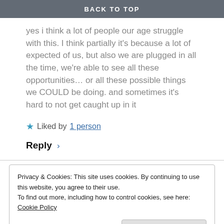BACK TO TOP
yes i think a lot of people our age struggle with this. I think partially it's because a lot of expected of us, but also we are plugged in all the time, we're able to see all these opportunities… or all these possible things we COULD be doing. and sometimes it's hard to not get caught up in it
★ Liked by 1 person
Reply ›
Privacy & Cookies: This site uses cookies. By continuing to use this website, you agree to their use.
To find out more, including how to control cookies, see here: Cookie Policy
Close and accept